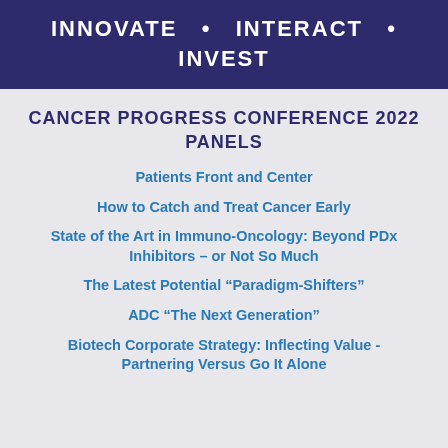INNOVATE  •  INTERACT  •  INVEST
CANCER PROGRESS CONFERENCE 2022 PANELS
Patients Front and Center
How to Catch and Treat Cancer Early
State of the Art in Immuno-Oncology: Beyond PDx Inhibitors – or Not So Much
The Latest Potential “Paradigm-Shifters”
ADC “The Next Generation”
Biotech Corporate Strategy: Inflecting Value - Partnering Versus Go It Alone